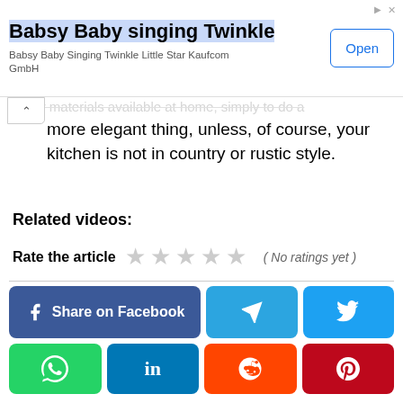[Figure (screenshot): Advertisement banner for 'Babsy Baby singing Twinkle' app by Kaufcom GmbH with an 'Open' button]
...any materials available at home, simply to do a more elegant thing, unless, of course, your kitchen is not in country or rustic style.
Related videos:
[Figure (other): Star rating widget showing 5 empty/grey stars with label 'Rate the article' and text '( No ratings yet )']
[Figure (other): Social share buttons: Share on Facebook, Telegram, Twitter, WhatsApp, LinkedIn, Reddit, Pinterest]